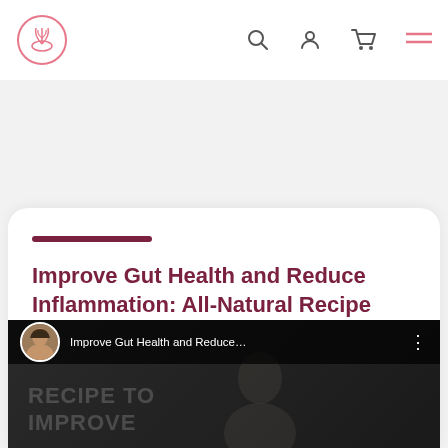Navigation bar with logo, search, user, cart, and menu icons
Improve Gut Health and Reduce Inflammation: All-Natural Recipe
[Figure (screenshot): Video thumbnail showing 'Improve Gut Health and Reduce...' with channel avatar and dark background with partial text 'RECIPE TO IMPROVE']